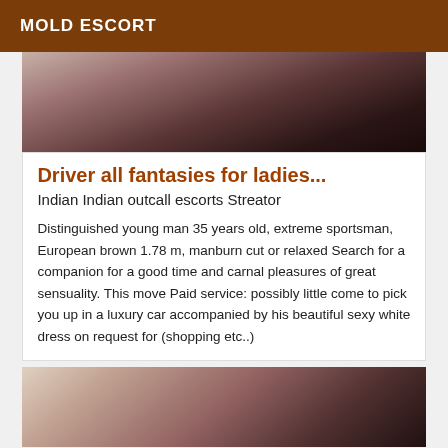MOLD ESCORT
[Figure (photo): Top portion of a dark photo showing partial view of a person]
Driver all fantasies for ladies...
Indian Indian outcall escorts Streator
Distinguished young man 35 years old, extreme sportsman, European brown 1.78 m, manburn cut or relaxed Search for a companion for a good time and carnal pleasures of great sensuality. This move Paid service: possibly little come to pick you up in a luxury car accompanied by his beautiful sexy white dress on request for (shopping etc..)
[Figure (photo): Bottom photo showing partial view of a person with dark hair]